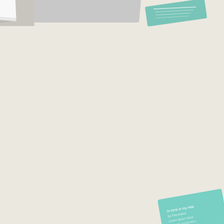[Figure (photo): Top partial view of an open magazine/brochure spread showing a teal-colored card or booklet with text, photographed at an angle on a light beige background]
[Figure (photo): Open magazine/brochure spread photographed at an angle on a light grey surface. Left page shows colorful geometric post-it note style blocks in orange, green, pink, and yellow arranged in a grid pattern with text labels. Right page shows a pink background album cover or advertisement featuring a Black woman with large natural afro hair and bold text reading 'DA KINK HAIR', with a photo of a person in a dark setting above.]
[Figure (photo): Bottom partial view of a teal/mint colored card or small booklet with text, photographed at an angle on a light beige background, partially visible at bottom of page]